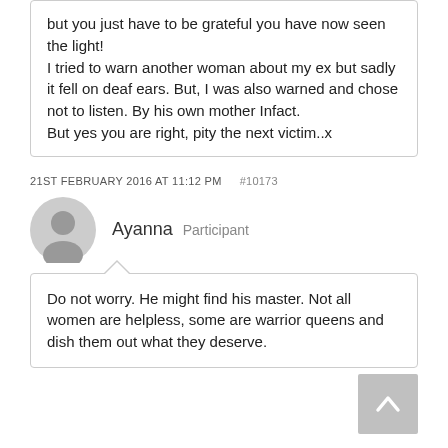but you just have to be grateful you have now seen the light!
I tried to warn another woman about my ex but sadly it fell on deaf ears. But, I was also warned and chose not to listen. By his own mother Infact.
But yes you are right, pity the next victim..x
21ST FEBRUARY 2016 AT 11:12 PM  #10173
Ayanna  Participant
Do not worry. He might find his master. Not all women are helpless, some are warrior queens and dish them out what they deserve.